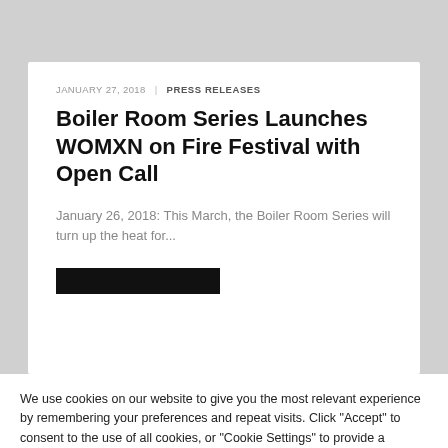JANUARY 27, 2018  |  PRESS RELEASES
Boiler Room Series Launches WOMXN on Fire Festival with Open Call
January 26, 2018: This March, the Boiler Room Series will turn up the heat for...
[Figure (other): Black redacted/censored button bar]
We use cookies on our website to give you the most relevant experience by remembering your preferences and repeat visits. Click "Accept" to consent to the use of all cookies, or "Cookie Settings" to provide a controlled consent. Read More
Accept All  Cookie Settings